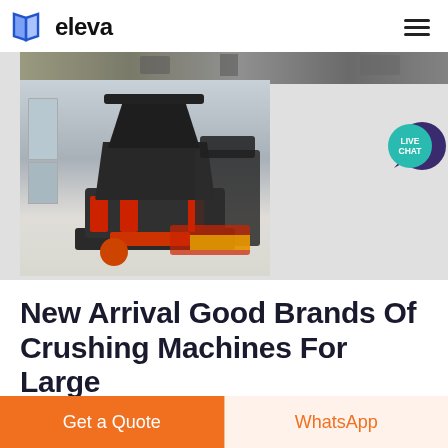eleva
[Figure (photo): Industrial crushing machines (cone crushers) in a factory/warehouse setting, with one large cone crusher in the foreground and another in the background. The machines are dark grey/black with red accents. Large factory windows are visible in the background.]
New Arrival Good Brands Of Crushing Machines For Large
Get a Quote
WhatsApp